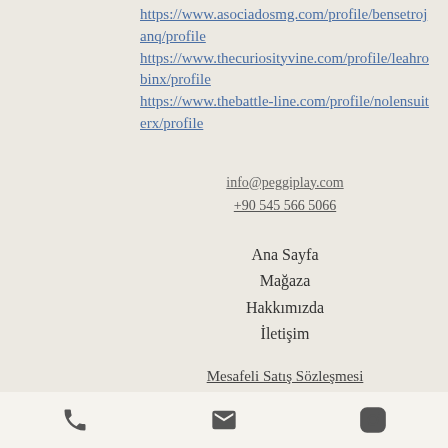https://www.asociadosmg.com/profile/bensetrojanq/profile
https://www.thecuriosityvine.com/profile/leahrobinx/profile
https://www.thebattle-line.com/profile/nolensuiterx/profile
info@peggiplay.com
+90 545 566 5066
Ana Sayfa
Mağaza
Hakkımızda
İletişim
Mesafeli Satış Sözleşmesi
İptal & İade Koşulları
Gizlilik Politikası
phone | email | instagram